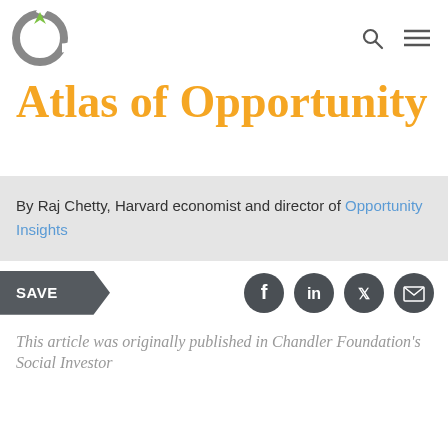Atlas of Opportunity — navigation bar with logo, search and menu icons
Atlas of Opportunity
By Raj Chetty, Harvard economist and director of Opportunity Insights
SAVE
This article was originally published in Chandler Foundation's Social Investor